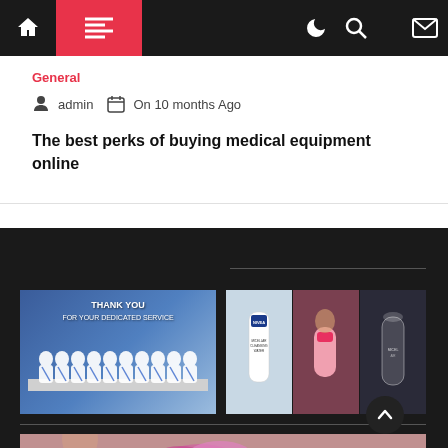Navigation bar with home, menu, dark mode, search, and mail icons
General
admin  On 10 months Ago
The best perks of buying medical equipment online
[Figure (photo): Group of men in traditional white robes with blue sashes standing on a stage with 'THANK YOU FOR YOUR DEDICATED SERVICE' banner]
[Figure (photo): Three-panel image of women holding skincare/beauty product bottles (Nivea and other brands)]
[Figure (photo): Partially visible image at bottom showing flowers and a person]